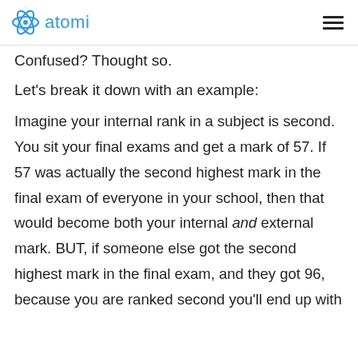atomi
Confused? Thought so.
Let's break it down with an example:
Imagine your internal rank in a subject is second. You sit your final exams and get a mark of 57. If 57 was actually the second highest mark in the final exam of everyone in your school, then that would become both your internal and external mark. BUT, if someone else got the second highest mark in the final exam, and they got 96, because you are ranked second you'll end up with